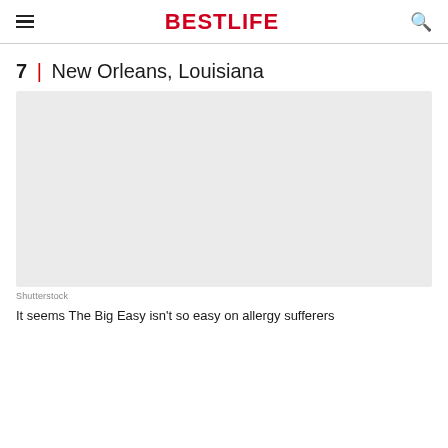BESTLIFE
7 | New Orleans, Louisiana
[Figure (photo): Photo of New Orleans, Louisiana (placeholder/blank gray image)]
Shutterstock
It seems The Big Easy isn't so easy on allergy sufferers